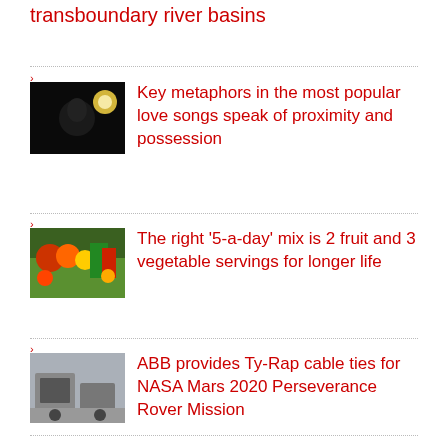transboundary river basins
Key metaphors in the most popular love songs speak of proximity and possession
[Figure (photo): Person with binoculars against dark background with bright light]
The right '5-a-day' mix is 2 fruit and 3 vegetable servings for longer life
[Figure (photo): Colorful vegetables and fruits on a market display]
ABB provides Ty-Rap cable ties for NASA Mars 2020 Perseverance Rover Mission
[Figure (photo): Industrial machinery or vehicles on a street]
Can eating mangoes reduce women's